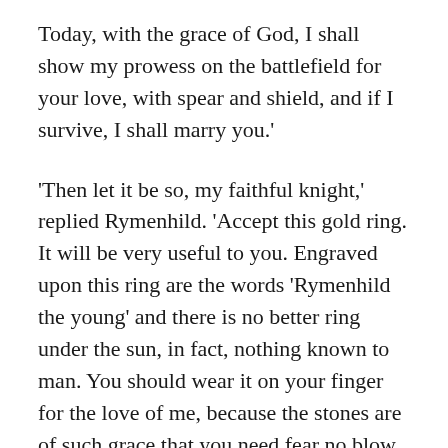Today, with the grace of God, I shall show my prowess on the battlefield for your love, with spear and shield, and if I survive, I shall marry you.'
'Then let it be so, my faithful knight,' replied Rymenhild. 'Accept this gold ring. It will be very useful to you. Engraved upon this ring are the words 'Rymenhild the young' and there is no better ring under the sun, in fact, nothing known to man. You should wear it on your finger for the love of me, because the stones are of such grace that you need fear no blow from any weapon, wherever you are, and you need not be frightened of any battle, if you look at this ring and think of your loved one. Your brother, Sir Athulf, shall